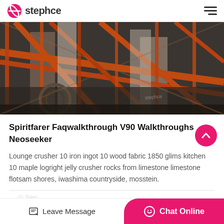stephce
[Figure (photo): Industrial construction site with orange steel scaffolding, conveyors, and structural supports under a partly cloudy sky.]
Spiritfarer Faqwalkthrough V90 Walkthroughs Neoseeker
Lounge crusher 10 iron ingot 10 wood fabric 1850 glims kitchen 10 maple logright jelly crusher rocks from limestone limestone flotsam shores, iwashima countryside, mosstein.
Leave Message   Chat Online